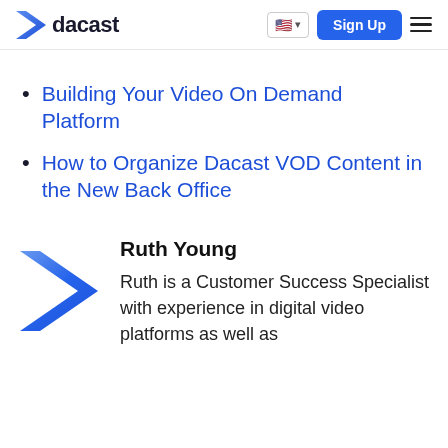dacast | Sign Up
Building Your Video On Demand Platform
How to Organize Dacast VOD Content in the New Back Office
[Figure (logo): Dacast chevron logo mark in blue gradient]
Ruth Young
Ruth is a Customer Success Specialist with experience in digital video platforms as well as